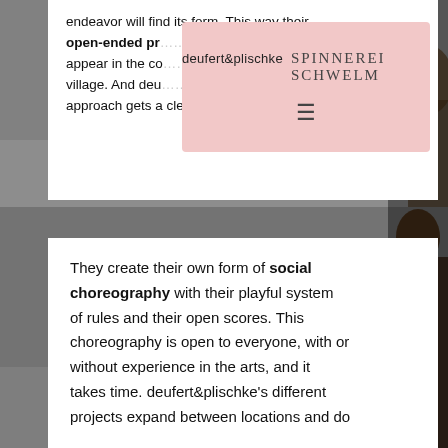[Figure (photo): Photo of a dance studio or rehearsal space with people, visible in the background and edges of the page]
endeavor will find its form. This way their open-ended pr... appear in the co... village. And deu... approach gets a clear political dimension.
deufert&plischke  SPINNEREI SCHWELM
They create their own form of social choreography with their playful system of rules and their open scores. This choreography is open to everyone, with or without experience in the arts, and it takes time. deufert&plischke's different projects expand between locations and do